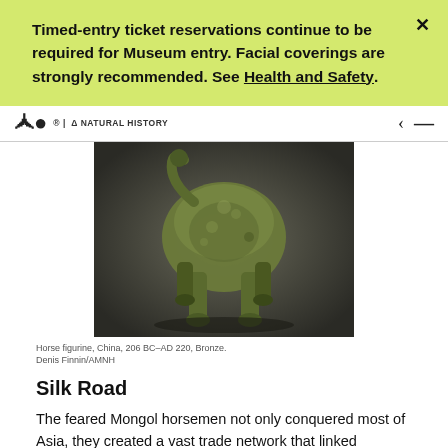Timed-entry ticket reservations continue to be required for Museum entry. Facial coverings are strongly recommended. See Health and Safety.
| & NATURAL HISTORY
[Figure (photo): Bronze horse figurine photographed from the rear, showing textured green-bronze patina, four legs and curved tail, on a dark gray background. China, 206 BC–AD 220.]
Horse figurine, China, 206 BC–AD 220, Bronze. Denis Finnin/AMNH
Silk Road
The feared Mongol horsemen not only conquered most of Asia, they created a vast trade network that linked previously isolated civilizations. The ancient Silk Road trade routes date back to well before the